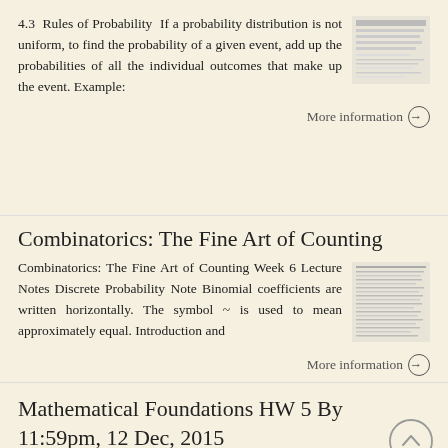4.3  Rules of Probability  If a probability distribution is not uniform, to find the probability of a given event, add up the probabilities of all the individual outcomes that make up the event. Example:
[Figure (screenshot): Thumbnail image of a document page with text lines]
More information →
Combinatorics: The Fine Art of Counting
Combinatorics: The Fine Art of Counting Week 6 Lecture Notes Discrete Probability Note Binomial coefficients are written horizontally. The symbol ~ is used to mean approximately equal. Introduction and
[Figure (screenshot): Thumbnail image of a dense text document page]
More information →
Mathematical Foundations HW 5 By 11:59pm, 12 Dec, 2015